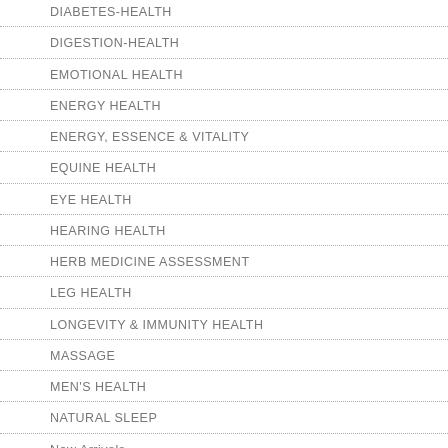DIABETES-HEALTH
DIGESTION-HEALTH
EMOTIONAL HEALTH
ENERGY HEALTH
ENERGY, ESSENCE & VITALITY
EQUINE HEALTH
EYE HEALTH
HEARING HEALTH
HERB MEDICINE ASSESSMENT
LEG HEALTH
LONGEVITY & IMMUNITY HEALTH
MASSAGE
MEN'S HEALTH
NATURAL SLEEP
New Arrivals